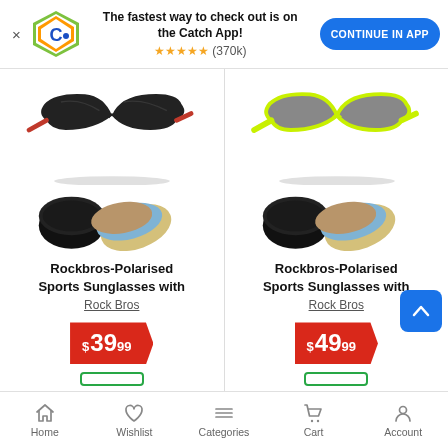The fastest way to check out is on the Catch App! ★★★★★ (370k) CONTINUE IN APP
[Figure (photo): Black Rockbros polarised sports sunglasses with red arms, shown with hard case and interchangeable lenses]
Rockbros-Polarised Sports Sunglasses with
Rock Bros
$39.99
[Figure (photo): Neon yellow/green Rockbros polarised sports sunglasses, shown with hard case and interchangeable lenses]
Rockbros-Polarised Sports Sunglasses with
Rock Bros
$49.99
Home  Wishlist  Categories  Cart  Account